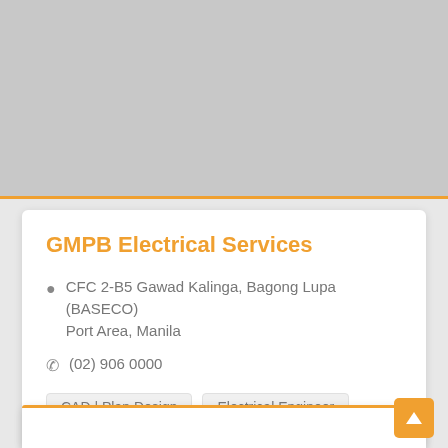[Figure (screenshot): Gray image placeholder area at the top of the page]
GMPB Electrical Services
CFC 2-B5 Gawad Kalinga, Bagong Lupa (BASECO) Port Area, Manila
(02) 906 0000
CAD | Plan Design
Electrical Engineer